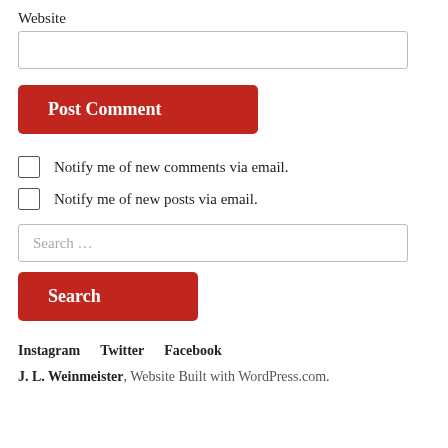Website
[input field]
Post Comment
Notify me of new comments via email.
Notify me of new posts via email.
Search …
Search
Instagram   Twitter   Facebook
J. L. Weinmeister, Website Built with WordPress.com.